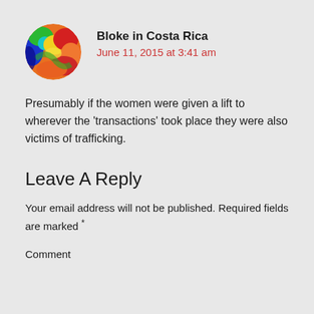[Figure (illustration): Circular avatar image showing a colorful thermal/heat map pattern with blue, green, yellow, red and orange swirling colors, circular cropped]
Bloke in Costa Rica
June 11, 2015 at 3:41 am
Presumably if the women were given a lift to wherever the 'transactions' took place they were also victims of trafficking.
Leave A Reply
Your email address will not be published. Required fields are marked *
Comment